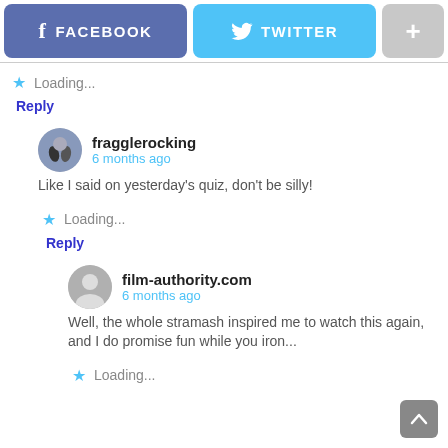[Figure (screenshot): Social media login buttons: Facebook (blue-purple), Twitter (light blue), and a plus button (gray)]
Loading...
Reply
fragglerocking
6 months ago
Like I said on yesterday's quiz, don't be silly!
Loading...
Reply
film-authority.com
6 months ago
Well, the whole stramash inspired me to watch this again, and I do promise fun while you iron...
Loading...